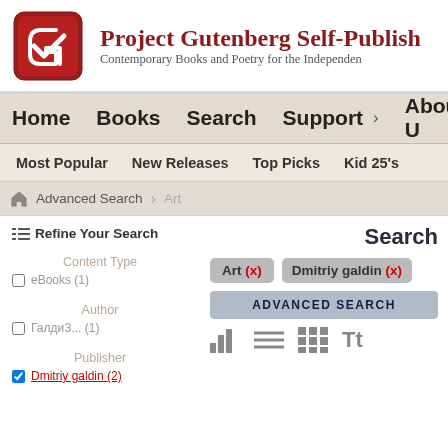[Figure (logo): Project Gutenberg Self-Publishing Press red logo with stylized G]
Project Gutenberg Self-Publish
Contemporary Books and Poetry for the Independen
Home   Books   Search   Support >   About U
Most Popular   New Releases   Top Picks   Kid 25's
Advanced Search   Art
Search
Refine Your Search
Content Type
eBooks (1)
Author
ГалдиЗ... (1)
Publisher
Dmitriy galdin (2)
Art (X)   Dmitriy galdin (X)
ADVANCED SEARCH